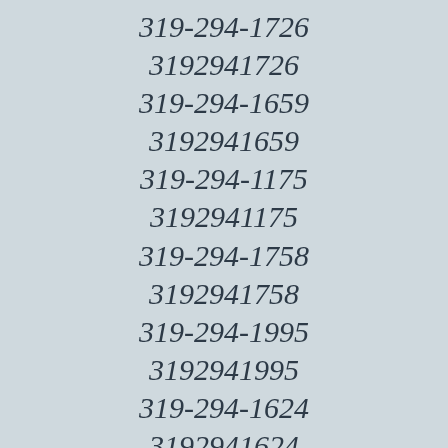319-294-1726
3192941726
319-294-1659
3192941659
319-294-1175
3192941175
319-294-1758
3192941758
319-294-1995
3192941995
319-294-1624
3192941624
319-294-1468
3192941468
319-294-1213
3192941213